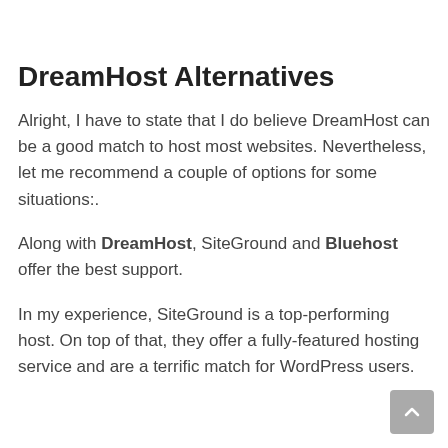DreamHost Alternatives
Alright, I have to state that I do believe DreamHost can be a good match to host most websites. Nevertheless, let me recommend a couple of options for some situations:.
Along with DreamHost, SiteGround and Bluehost offer the best support.
In my experience, SiteGround is a top-performing host. On top of that, they offer a fully-featured hosting service and are a terrific match for WordPress users.